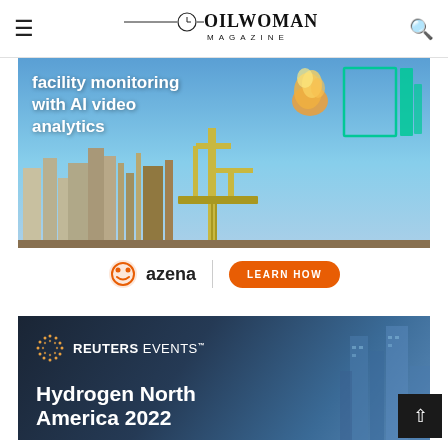OILWOMAN MAGAZINE
[Figure (photo): Azena advertisement banner showing an oil/gas facility with text 'facility monitoring with AI video analytics' and green graphic overlay elements. Below the image: azena logo with 'LEARN HOW' orange button.]
[Figure (photo): Reuters Events advertisement banner with dark blue/navy background, Reuters Events logo, and text 'Hydrogen North America 2022' with industrial/city skyline silhouette.]